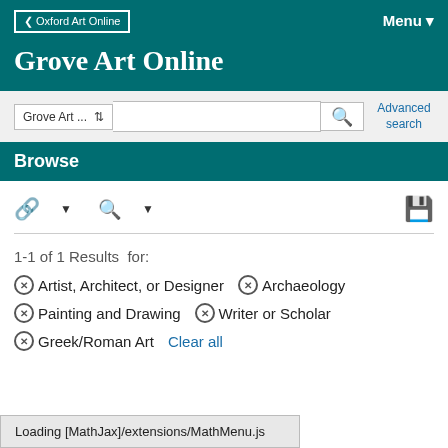Oxford Art Online
Grove Art Online
Menu
Grove Art... Advanced search
Browse
1-1 of 1 Results for:
Artist, Architect, or Designer
Archaeology
Painting and Drawing
Writer or Scholar
Greek/Roman Art
Clear all
Loading [MathJax]/extensions/MathMenu.js